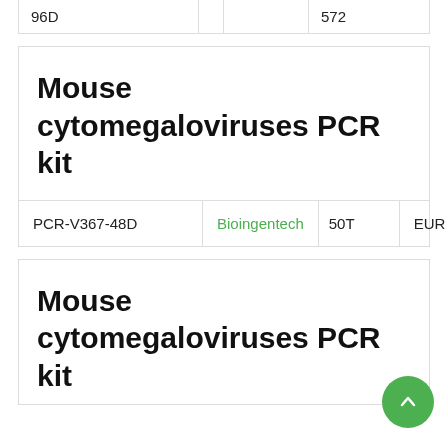| 96D |  |  | 572 |
Mouse cytomegaloviruses PCR kit
| PCR-V367-48D | Bioingentech | 50T | EUR 453 |
Mouse cytomegaloviruses PCR kit